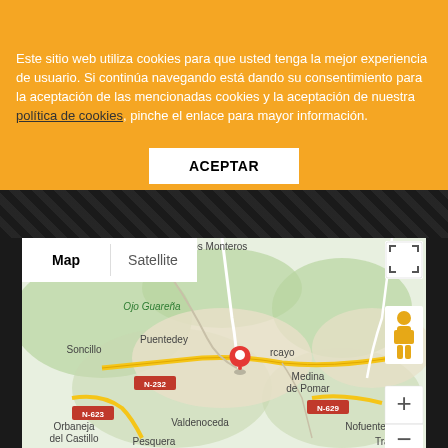Uso de cookies
Este sitio web utiliza cookies para que usted tenga la mejor experiencia de usuario. Si continúa navegando está dando su consentimiento para la aceptación de las mencionadas cookies y la aceptación de nuestra política de cookies, pinche el enlace para mayor información.
ACEPTAR
[Figure (map): Google Maps view showing region around Villarcayo, Burgos, Spain. Map mode selected. Visible places: Los Monteros, Ojo Guareña, Soncillo, Puentedey, Villarcayo (red marker), Medina de Pomar, Valdenoceda, Nofuentes, Orbaneja del Castillo, Pesquera, Traspar. Roads: N-232, N-623, N-629.]